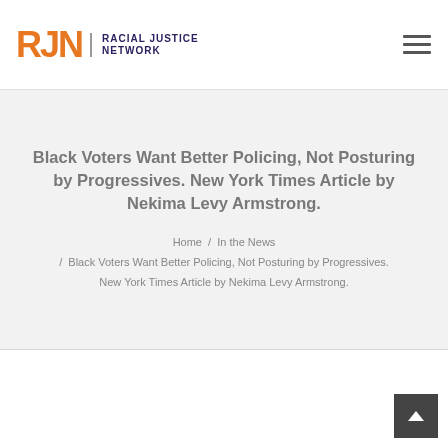RJN RACIAL JUSTICE NETWORK
Black Voters Want Better Policing, Not Posturing by Progressives. New York Times Article by Nekima Levy Armstrong.
Home / In the News / Black Voters Want Better Policing, Not Posturing by Progressives. New York Times Article by Nekima Levy Armstrong.